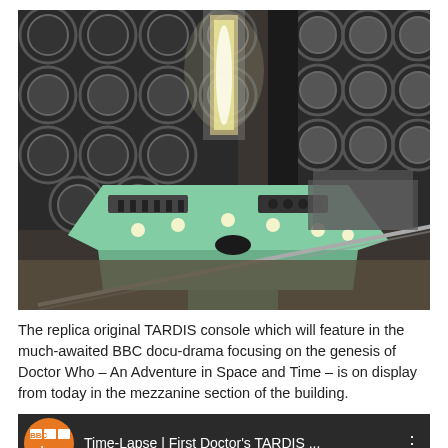[Figure (photo): Photo of a replica original TARDIS console — a green hexagonal control panel with lights and switches, set against a wall covered with circular patterns. The console room interior is visible, with a central column containing glowing elements.]
The replica original TARDIS console which will feature in the much-awaited BBC docu-drama focusing on the genesis of Doctor Who – An Adventure in Space and Time – is on display from today in the mezzanine section of the building.
[Figure (screenshot): Video thumbnail showing BBC Who logo and text: Time-Lapse | First Doctor's TARDIS ... with three-dot menu icon, on dark background.]